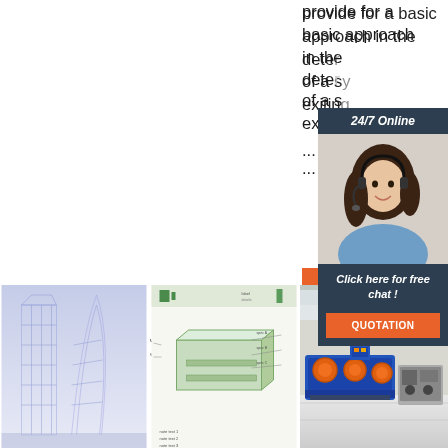provide for a basic approach in the dete[rmination] of a [system's] exiting ...
[Figure (photo): Customer service representative with headset and chat popup overlay reading '24/7 Online' and 'Click here for free chat!' with a QUOTATION button]
[Figure (photo): Architectural wireframe rendering of modern skyscrapers]
[Figure (schematic): Technical diagram of a green-colored container or duct system with labels]
[Figure (photo): Industrial machinery in a factory setting with blue and orange equipment]